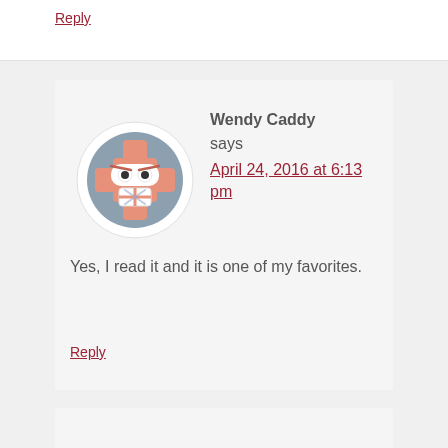Reply
[Figure (illustration): User avatar: cartoon angry gear/robot face with cross-shaped head, eyes and bandaged mouth, on a blue-grey circular background]
Wendy Caddy says
April 24, 2016 at 6:13 pm
Yes, I read it and it is one of my favorites.
Reply